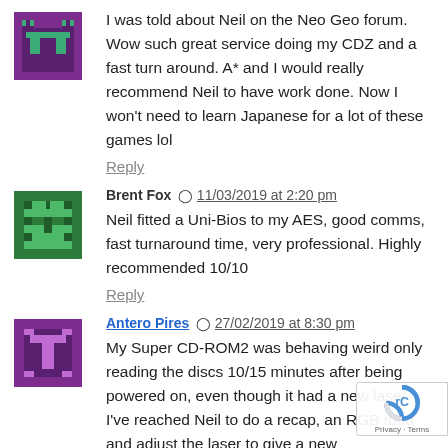[Figure (illustration): Purple pixel art avatar icon]
I was told about Neil on the Neo Geo forum. Wow such great service doing my CDZ and a fast turn around. A* and I would really recommend Neil to have work done. Now I won't need to learn Japanese for a lot of these games lol
Reply
[Figure (illustration): Green pixel art avatar icon]
Brent Fox  11/03/2019 at 2:20 pm
Neil fitted a Uni-Bios to my AES, good comms, fast turnaround time, very professional. Highly recommended 10/10
Reply
[Figure (illustration): Purple pixel art avatar icon with T letter]
Antero Pires  27/02/2019 at 8:30 pm
My Super CD-ROM2 was behaving weird only reading the discs 10/15 minutes after being powered on, even though it had a new laser. I've reached Neil to do a recap, an RGB mod and adjust the laser to give a new